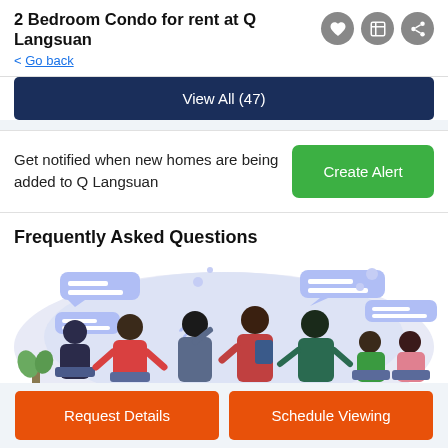2 Bedroom Condo for rent at Q Langsuan
< Go back
View All (47)
Get notified when new homes are being added to Q Langsuan
Create Alert
Frequently Asked Questions
[Figure (illustration): Group of people with speech bubbles discussing, FAQ illustration]
Request Details
Schedule Viewing